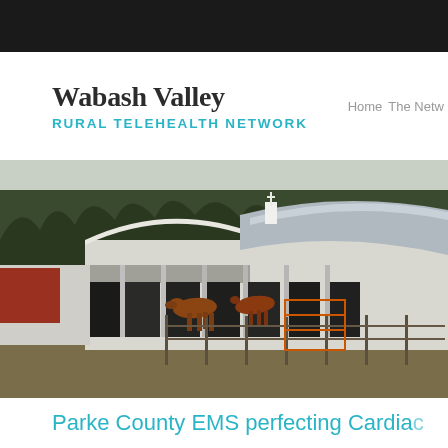Wabash Valley
RURAL TELEHEALTH NETWORK
Home  The Netw…
[Figure (photo): A rural farm scene with a large white barn with a metal roof, horses visible underneath the barn overhang, evergreen trees in the background, winter/early spring landscape.]
Parke County EMS perfecting Cardiac…